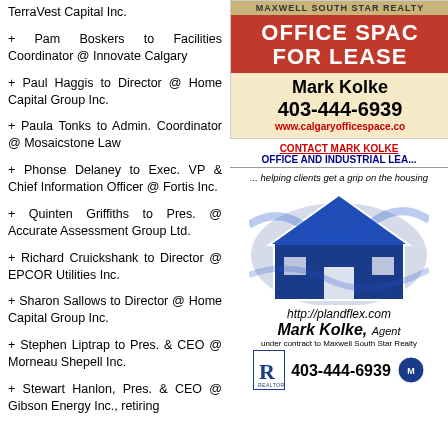TerraVest Capital Inc.
+ Pam Boskers to Facilities Coordinator @ Innovate Calgary
+ Paul Haggis to Director @ Home Capital Group Inc.
+ Paula Tonks to Admin. Coordinator @ Mosaicstone Law
+ Phonse Delaney to Exec. VP & Chief Information Officer @ Fortis Inc.
+ Quinten Griffiths to Pres. @ Accurate Assessment Group Ltd.
+ Richard Cruickshank to Director @ EPCOR Utilities Inc.
+ Sharon Sallows to Director @ Home Capital Group Inc.
+ Stephen Liptrap to Pres. & CEO @ Morneau Shepell Inc.
+ Stewart Hanlon, Pres. & CEO @ Gibson Energy Inc., retiring
[Figure (advertisement): MaxWell South Star Realty ad: OFFICE SPACE FOR LEASE, Mark Kolke, 403-444-6939, www.calgaryofficespace.co]
CONTACT MARK KOLKE OFFICE AND INDUSTRIAL LEA...
[Figure (advertisement): Plandflex.com ad: ...helping clients get a grip on the housing... Mark Kolke, Agent, under contract to Maxwell South Star Realty, 403-444-6939, with house logo and realtor badge]